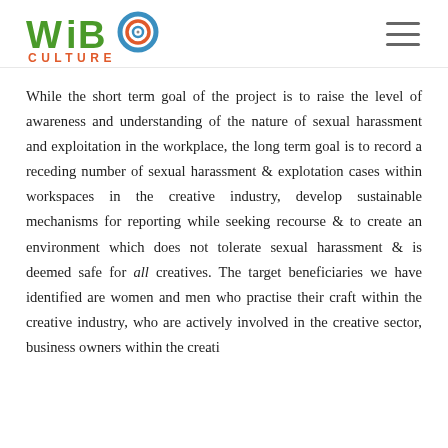WiBo Culture
While the short term goal of the project is to raise the level of awareness and understanding of the nature of sexual harassment and exploitation in the workplace, the long term goal is to record a receding number of sexual harassment & explotation cases within workspaces in the creative industry, develop sustainable mechanisms for reporting while seeking recourse & to create an environment which does not tolerate sexual harassment & is deemed safe for all creatives. The target beneficiaries we have identified are women and men who practise their craft within the creative industry, who are actively involved in the creative sector, business owners within the creati